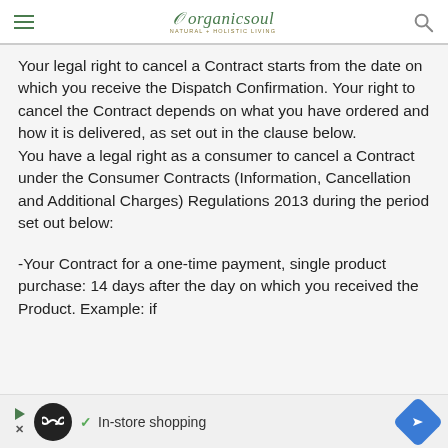organicsoul — NATURAL + HOLISTIC LIVING
Your legal right to cancel a Contract starts from the date on which you receive the Dispatch Confirmation. Your right to cancel the Contract depends on what you have ordered and how it is delivered, as set out in the clause below.
You have a legal right as a consumer to cancel a Contract under the Consumer Contracts (Information, Cancellation and Additional Charges) Regulations 2013 during the period set out below:
-Your Contract for a one-time payment, single product purchase: 14 days after the day on which you received the Product. Example: if
[Figure (infographic): Advertisement banner at bottom: play/close controls, infinity loop icon in black circle, checkmark with 'In-store shopping' text, blue diamond arrow navigation button]